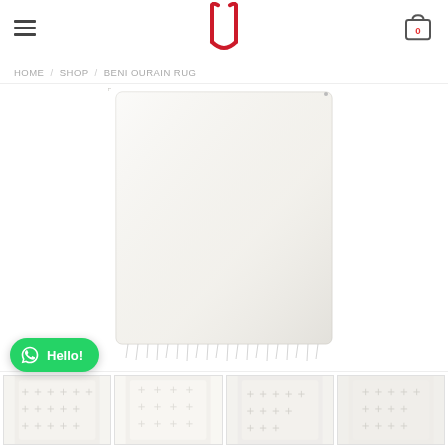Hamburger menu | Logo | Cart (0)
HOME / SHOP / BENI OURAIN RUG
[Figure (photo): A white Beni Ourain rug with small cross/plus pattern dots arranged in a grid, laid flat with fringe at the bottom edge. The rug appears cream/white with subtle grey geometric cross patterns throughout.]
[Figure (photo): Thumbnail 1: close-up of white rug texture]
[Figure (photo): Thumbnail 2: close-up of white rug with pattern]
[Figure (photo): Thumbnail 3: wider view of white rug with cross pattern]
[Figure (photo): Thumbnail 4: another angle of the white beni ourain rug]